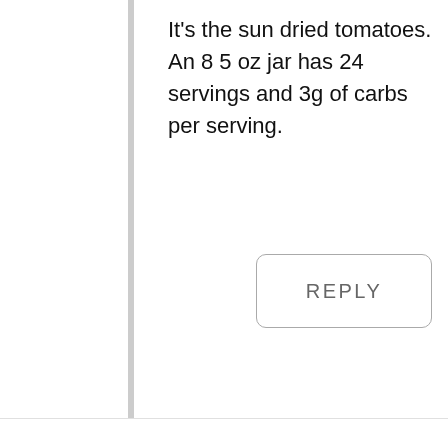It's the sun dried tomatoes. An 8 5 oz jar has 24 servings and 3g of carbs per serving.
REPLY
Melissa
July 24, 2018 at 3:23 pm
Are the nutrition fact for one breast or the whole meal?